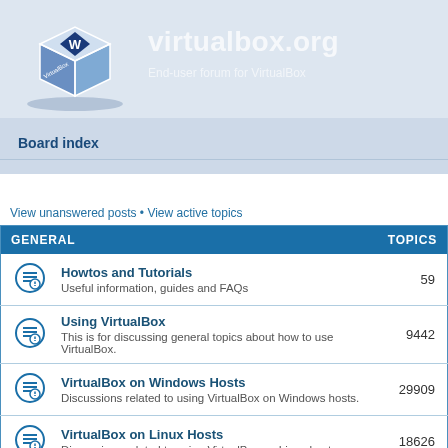[Figure (logo): VirtualBox logo — a 3D cube with VirtualBox branding, blue/white color scheme]
virtualbox.org
End-user forum for VirtualBox
Board index
View unanswered posts • View active topics
| GENERAL | TOPICS |
| --- | --- |
| Howtos and Tutorials — Useful information, guides and FAQs | 59 |
| Using VirtualBox — This is for discussing general topics about how to use VirtualBox. | 9442 |
| VirtualBox on Windows Hosts — Discussions related to using VirtualBox on Windows hosts. | 29909 |
| VirtualBox on Linux Hosts — Discussions related to using VirtualBox on Linux hosts. | 18626 |
| VirtualBox on Mac OS X Hosts |  |